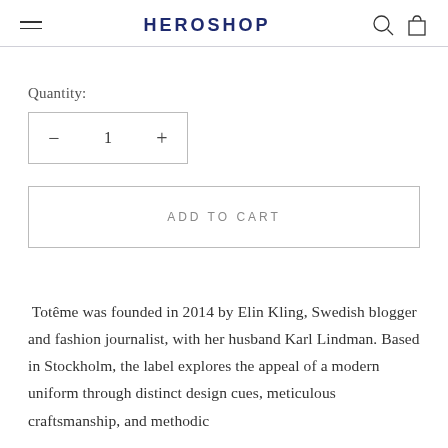HEROSHOP
Quantity:
− 1 +
ADD TO CART
Totême was founded in 2014 by Elin Kling, Swedish blogger and fashion journalist, with her husband Karl Lindman. Based in Stockholm, the label explores the appeal of a modern uniform through distinct design cues, meticulous craftsmanship, and methodic